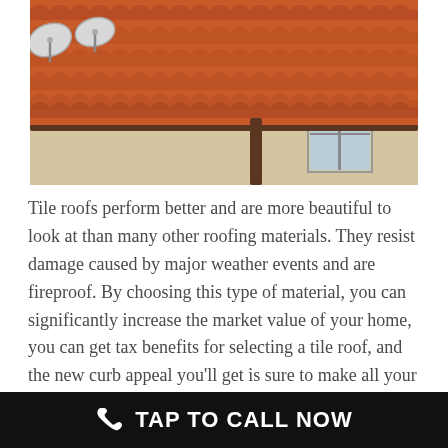[Figure (photo): Photo of a house with orange/terracotta tile roof, brown gutters, satellite dishes visible, and a window in the background.]
Tile roofs perform better and are more beautiful to look at than many other roofing materials. They resist damage caused by major weather events and are fireproof. By choosing this type of material, you can significantly increase the market value of your home, you can get tax benefits for selecting a tile roof, and the new curb appeal you’ll get is sure to make all your neighbors jealous.
Sure, they’re one of the most expensive roofing
TAP TO CALL NOW